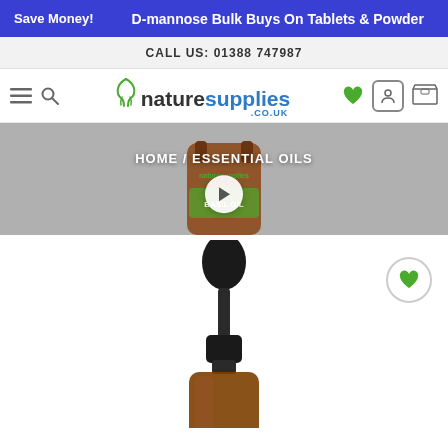Save Money! D-mannose Bulk Buys On Tablets & Powder
CALL US: 01388 747987
[Figure (logo): naturesupplies.co.uk logo with green leaf icon]
[Figure (photo): Hero banner with basil oil bottle image, HOME / ESSENTIAL OILS breadcrumb, and a play button]
[Figure (photo): Amber dropper bottle product image with black pipette cap, and a heart wishlist button]